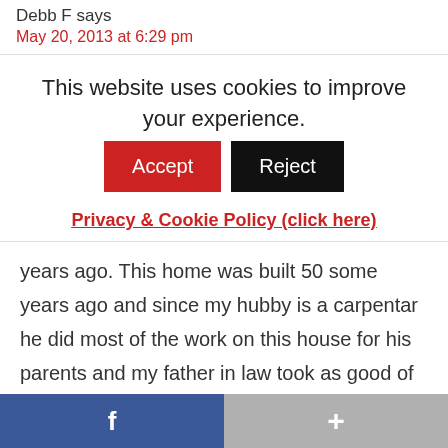Debb F says
May 20, 2013 at 6:29 pm
This website uses cookies to improve your experience.
Accept
Reject
Privacy & Cookie Policy (click here)
years ago. This home was built 50 some years ago and since my hubby is a carpentar he did most of the work on this house for his parents and my father in law took as good of care as anyone could imagine, being ex military and working in maintenance ever since
f
+